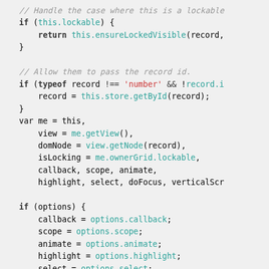[Figure (screenshot): Source code screenshot showing JavaScript code with syntax highlighting. Code includes conditional blocks with lockable checks, typeof comparisons, variable declarations for view, domNode, isLocking, callback, scope, animate, highlight, select, doFocus, and an options block assigning callback, scope, animate, highlight, select, doFocus, focus, and column properties.]